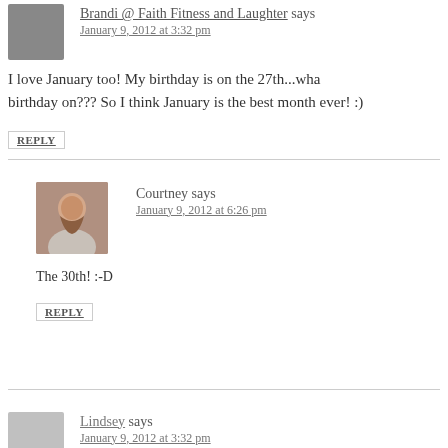Brandi @ Faith Fitness and Laughter says
January 9, 2012 at 3:32 pm
I love January too! My birthday is on the 27th...wha birthday on??? So I think January is the best month ever! :)
REPLY
Courtney says
January 9, 2012 at 6:26 pm
The 30th! :-D
REPLY
Lindsey says
January 9, 2012 at 3:32 pm